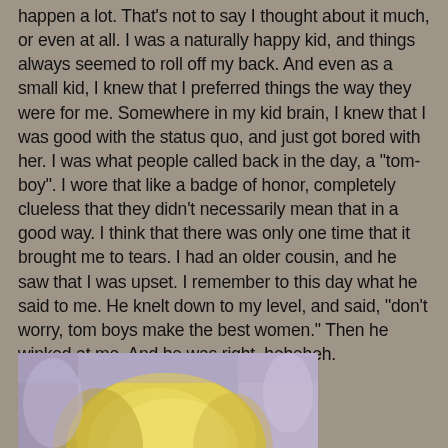happen a lot. That's not to say I thought about it much, or even at all. I was a naturally happy kid, and things always seemed to roll off my back. And even as a small kid, I knew that I preferred things the way they were for me. Somewhere in my kid brain, I knew that I was good with the status quo, and just got bored with her. I was what people called back in the day, a "tom-boy". I wore that like a badge of honor, completely clueless that they didn't necessarily mean that in a good way. I think that there was only one time that it brought me to tears. I had an older cousin, and he saw that I was upset. I remember to this day what he said to me. He knelt down to my level, and said, "don't worry, tom boys make the best women." Then he winked at me. And he was right, heheheh.
[Figure (illustration): Partial view of a colored pencil or pastel illustration showing the top of a person's head with light yellow/blonde hair against a purple/lavender background.]